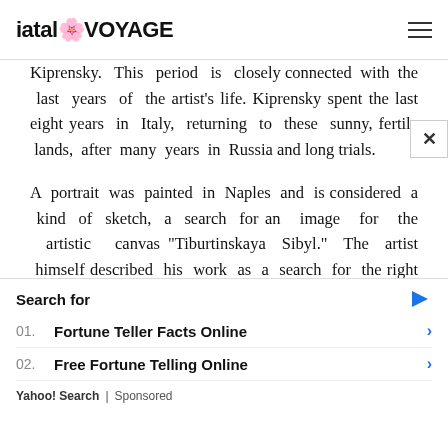iatal VOYAGE
Kiprensky. This period is closely connected with the last years of the artist's life. Kiprensky spent the last eight years in Italy, returning to these sunny, fertile lands, after many years in Russia and long trials.
A portrait was painted in Naples and is considered a kind of sketch, a search for an image for the artistic canvas "Tiburtinskaya Sibyl." The artist himself described his work as a search for the right colors and an attempt to study
01. Fortune Teller Facts Online
02. Free Fortune Telling Online
Yahoo! Search | Sponsored